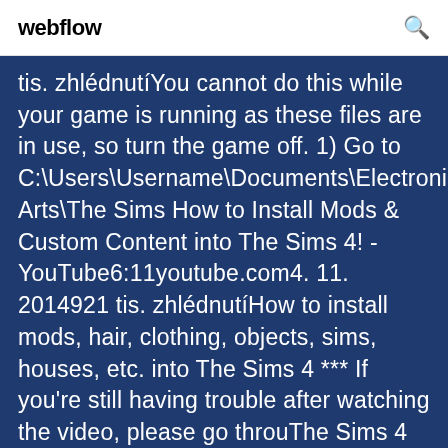webflow
tis. zhlédnutíYou cannot do this while your game is running as these files are in use, so turn the game off. 1) Go to C:\Users\Username\Documents\Electronic Arts\The Sims How to Install Mods & Custom Content into The Sims 4! - YouTube6:11youtube.com4. 11. 2014921 tis. zhlédnutíHow to install mods, hair, clothing, objects, sims, houses, etc. into The Sims 4 *** If you're still having trouble after watching the video, please go throuThe Sims 4 Nexus - Mods and communityhttps://nexusmods.com/thesims4B203 mods for The Sims 4 at Nexus Mods